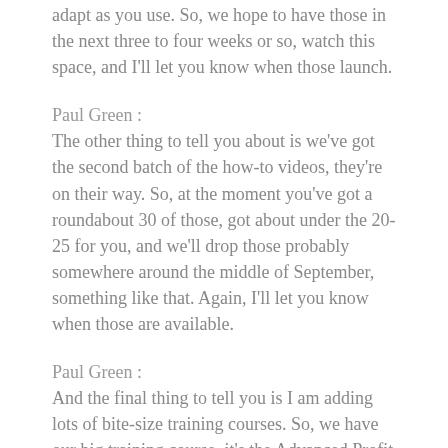adapt as you use. So, we hope to have those in the next three to four weeks or so, watch this space, and I'll let you know when those launch.
Paul Green:
The other thing to tell you about is we've got the second batch of the how-to videos, they're on their way. So, at the moment you've got a roundabout 30 of those, got about under the 20-25 for you, and we'll drop those probably somewhere around the middle of September, something like that. Again, I'll let you know when those are available.
Paul Green:
And the final thing to tell you is I am adding lots of bite-size training courses. So, we have our big training course, it's the Advanced Profit System, and that's an overall training course